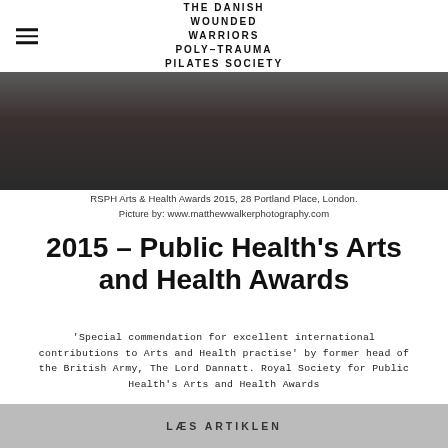THE DANISH WOUNDED WARRIORS POLY-TRAUMA PILATES SOCIETY
[Figure (photo): Two people at an awards ceremony, one presenting an award to the other, dark clothing, indoor setting at 28 Portland Place, London.]
RSPH Arts & Health Awards 2015, 28 Portland Place, London. Picture by: www.matthewwalkerphotography.com
2015 – Public Health's Arts and Health Awards
'Special commendation for excellent international contributions to Arts and Health practise' by former head of the British Army, The Lord Dannatt. Royal Society for Public Health's Arts and Health Awards
LÆS ARTIKLEN